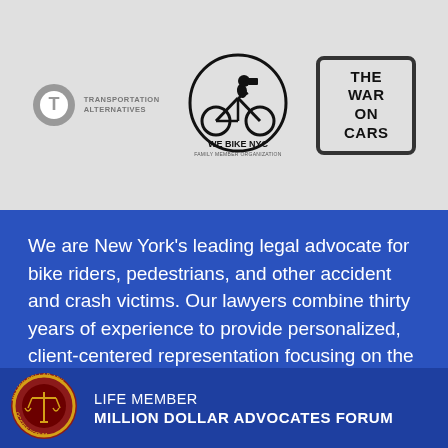[Figure (logo): Transportation Alternatives logo — circular T icon with text TRANSPORTATION ALTERNATIVES]
[Figure (logo): We Bike NYC logo — cyclist silhouette in circle with text WE BIKE NYC]
[Figure (logo): The War on Cars logo — text in rounded square border: THE WAR ON CARS]
We are New York's leading legal advocate for bike riders, pedestrians, and other accident and crash victims. Our lawyers combine thirty years of experience to provide personalized, client-centered representation focusing on the client's objectives.
[Figure (logo): Million Dollar Advocates Forum seal — circular gold and red badge with scales of justice]
LIFE MEMBER
MILLION DOLLAR ADVOCATES FORUM